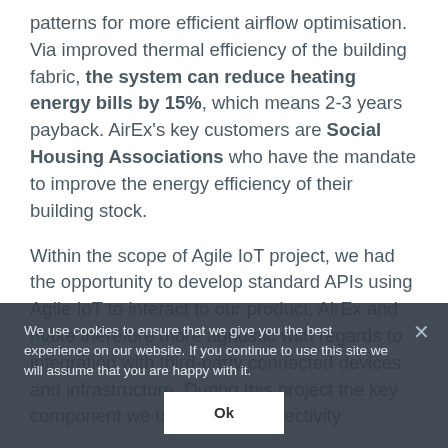patterns for more efficient airflow optimisation. Via improved thermal efficiency of the building fabric, the system can reduce heating energy bills by 15%, which means 2-3 years payback. AirEx's key customers are Social Housing Associations who have the mandate to improve the energy efficiency of their building stock.
Within the scope of Agile IoT project, we had the opportunity to develop standard APIs using Agile IoT to interact to our product, AirEx and make therefore more agnostic with regards to integration with third-party connected devices and infrastructure. During this project the key component we utilised is 'Connectivity
We use cookies to ensure that we give you the best experience on our website. If you continue to use this site we will assume that you are happy with it.